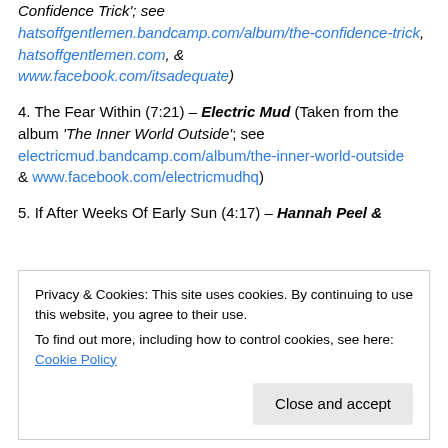Confidence Trick'; see hatsoffgentlemen.bandcamp.com/album/the-confidence-trick, hatsoffgentlemen.com, & www.facebook.com/itsadequate)
4. The Fear Within (7:21) – Electric Mud (Taken from the album 'The Inner World Outside'; see electricmud.bandcamp.com/album/the-inner-world-outside & www.facebook.com/electricmudhq)
5. If After Weeks Of Early Sun (4:17) – Hannah Peel &
Privacy & Cookies: This site uses cookies. By continuing to use this website, you agree to their use. To find out more, including how to control cookies, see here: Cookie Policy